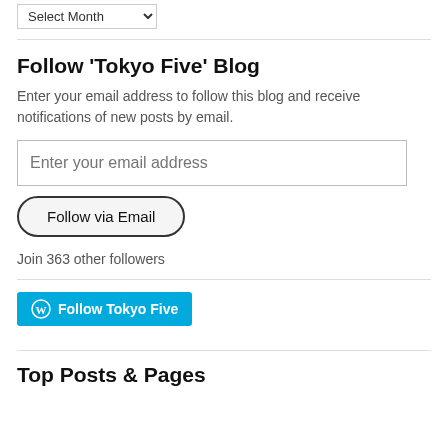Select Month (dropdown)
Follow 'Tokyo Five' Blog
Enter your email address to follow this blog and receive notifications of new posts by email.
Enter your email address (input field)
Follow via Email (button)
Join 363 other followers
[Figure (other): WordPress Follow Tokyo Five button (blue rounded rectangle with WordPress icon and text)]
Top Posts & Pages